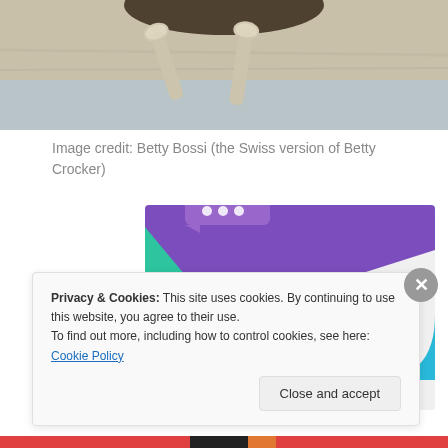[Figure (photo): Food photo showing spoons on a wooden/slate surface with a dark bowl or dish partially visible at top]
Image credit: Betty Bossi (the Swiss version of Betty Crocker)
[Figure (infographic): Advertisement graphic with purple, green, and blue shapes on light grey background with text 'How to start selling subscriptions online']
Privacy & Cookies: This site uses cookies. By continuing to use this website, you agree to their use.
To find out more, including how to control cookies, see here: Cookie Policy
Close and accept